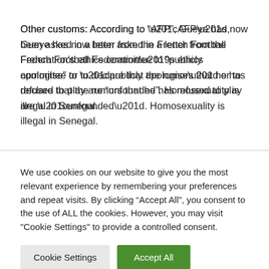Other customs: According to “AFP”, Gueye has now been asked in a letter from the French Football Federation’s ethics committee to “publicly apologise” or to declare that the rumors that he has refused to play are “unfounded”. Homosexuality is illegal in Senegal.
We use cookies on our website to give you the most relevant experience by remembering your preferences and repeat visits. By clicking “Accept All”, you consent to the use of ALL the cookies. However, you may visit "Cookie Settings" to provide a controlled consent.